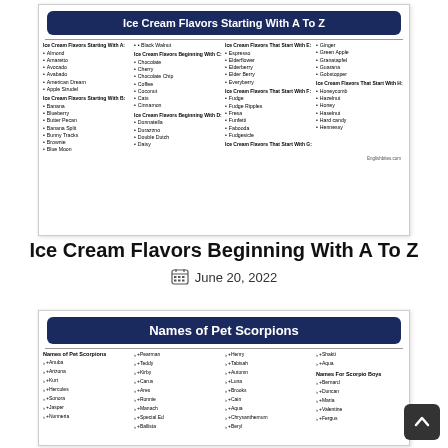[Figure (infographic): Ice Cream Flavors Starting With A To Z — card with navy blue banner and four columns listing ice cream flavors starting with letters A, B, C, D, E, F, G, H]
Ice Cream Flavors Beginning With A To Z
June 20, 2022
[Figure (infographic): Names of Pet Scorpions — card with navy blue banner and four columns listing names of pet scorpions including Anuba, Arizona, Kurt, Hercules, Sonora, Jasper, Nunneria, Pearman, Teddy, Kirby, Carus, Ares, Ronnie, Manach, Special Ed, Ballista, Henry, Tabisah, Autumn, Luna, Brooks, Cain, Aqua, Chrysanthemum, Beryl, Shakti, Aqua, Names For Scorpio Boys, Bernard, Duncan, Maria, Valentine, Fergus]